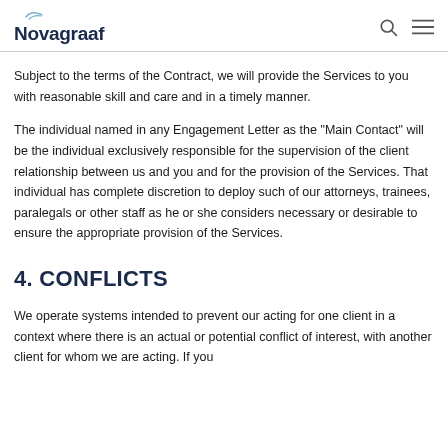Novagraaf
Subject to the terms of the Contract, we will provide the Services to you with reasonable skill and care and in a timely manner.
The individual named in any Engagement Letter as the "Main Contact" will be the individual exclusively responsible for the supervision of the client relationship between us and you and for the provision of the Services. That individual has complete discretion to deploy such of our attorneys, trainees, paralegals or other staff as he or she considers necessary or desirable to ensure the appropriate provision of the Services.
4. CONFLICTS
We operate systems intended to prevent our acting for one client in a context where there is an actual or potential conflict of interest, with another client for whom we are acting. If you